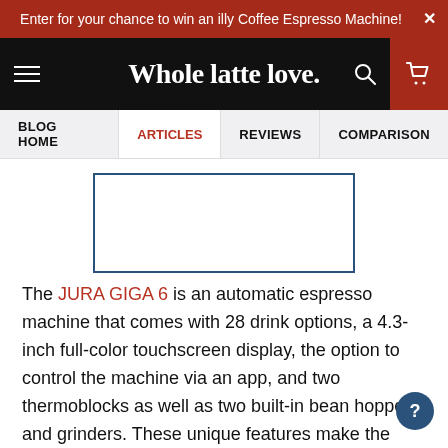Enter for your chance to win an illy Coffee Espresso Machine!
[Figure (logo): Whole latte love. website navigation bar with hamburger menu, logo, search icon, and cart icon]
BLOG HOME | ARTICLES | REVIEWS | COMPARISON
[Figure (other): Blue-bordered rectangular image placeholder]
The JURA GIGA 6 is an automatic espresso machine that comes with 28 drink options, a 4.3-inch full-color touchscreen display, the option to control the machine via an app, and two thermoblocks as well as two built-in bean hoppers and grinders. These unique features make the GIGA 6 stand out as one of the best espresso machines